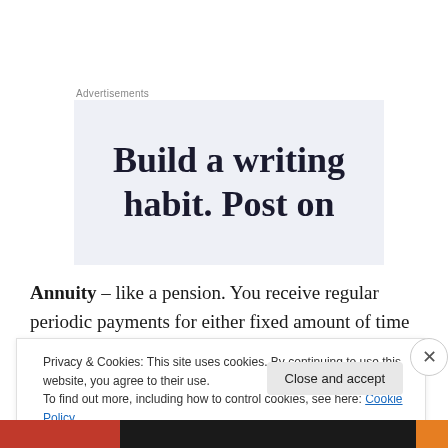Advertisements
[Figure (illustration): Advertisement banner with light blue/lavender background showing text 'Build a writing habit. Post on']
Annuity – like a pension. You receive regular periodic payments for either fixed amount of time or until you die.
Privacy & Cookies: This site uses cookies. By continuing to use this website, you agree to their use.
To find out more, including how to control cookies, see here: Cookie Policy
Close and accept